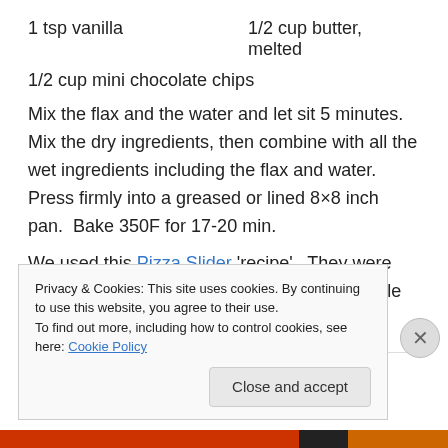1 tsp vanilla    1/2 cup butter, melted
1/2 cup mini chocolate chips
Mix the flax and the water and let sit 5 minutes.  Mix the dry ingredients, then combine with all the wet ingredients including the flax and water.  Press firmly into a greased or lined 8×8 inch pan.  Bake 350F for 17-20 min.
We used this Pizza Slider 'recipe'.  They were delicious but a little burnt.  I was having trouble with the fire in the BBQ.  They would have not to be in the
Privacy & Cookies: This site uses cookies. By continuing to use this website, you agree to their use.
To find out more, including how to control cookies, see here: Cookie Policy